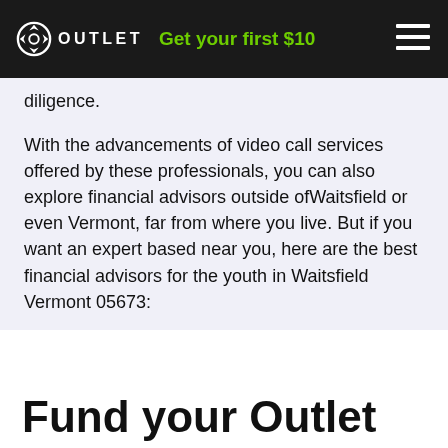OUTLET  Get your first $10
diligence.
With the advancements of video call services offered by these professionals, you can also explore financial advisors outside ofWaitsfield or even Vermont, far from where you live. But if you want an expert based near you, here are the best financial advisors for the youth in Waitsfield Vermont 05673:
Fund your Outlet